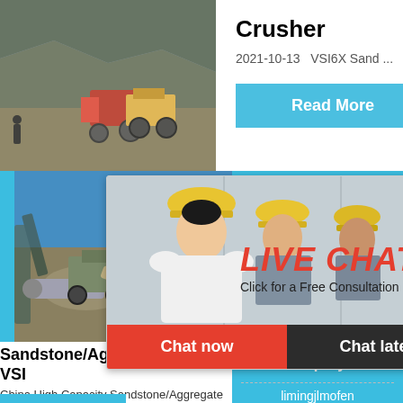[Figure (photo): Quarry/crusher site photo showing heavy machinery and rocky terrain]
Crusher
2021-10-13   VSI6X Sand ...
Read More
[Figure (photo): Sandstone/aggregate quarry site with excavator and machinery]
[Figure (photo): Live Chat popup with workers in hard hats]
LIVE CHAT
Click for a Free Consultation
Chat now
Chat later
Sandstone/Aggregate/Quarry VSI
China High Capacity Sandstone/Aggregate
hour online
[Figure (photo): Industrial crusher machine (hammer mill) in white/grey]
Click me to chat>>
Enquiry
limingjlmofen